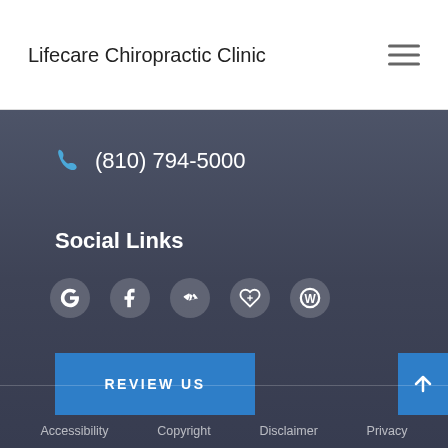Lifecare Chiropractic Clinic
(810) 794-5000
Social Links
[Figure (other): Social media icons: Google, Facebook, Yelp, Healthgrades, WebMD]
REVIEW US
Accessibility   Copyright   Disclaimer   Privacy